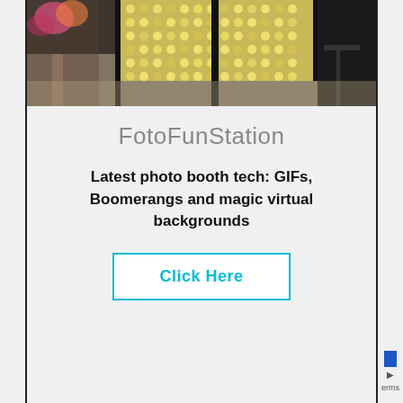[Figure (photo): Photo booth setup in a room with a sparkly/sequined backdrop panel, black stands, and a black curtain on the right side. Decorative flowers or props visible on the left.]
FotoFunStation
Latest photo booth tech: GIFs, Boomerangs and magic virtual backgrounds
Click Here